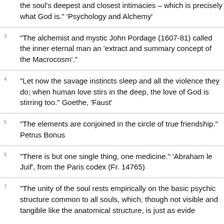the soul’s deepest and closest intimacies – which is precisely what God is.” ‘Psychology and Alchemy’
"The alchemist and mystic John Pordage (1607-81) called the inner eternal man an 'extract and summary concept of the Macrocosm'."
"Let now the savage instincts sleep and all the violence they do; when human love stirs in the deep, the love of God is stirring too." Goethe, 'Faust'
“The elements are conjoined in the circle of true friendship.” Petrus Bonus
"There is but one single thing, one medicine." 'Abraham le Juif', from the Paris codex (Fr. 14765)
"The unity of the soul rests empirically on the basic psychic structure common to all souls, which, though not visible and tangible like the anatomical structure, is just as evide